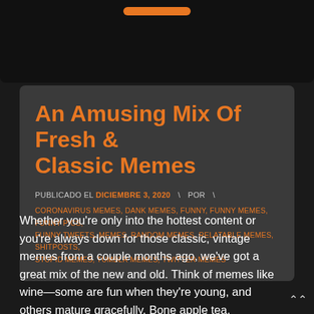[Figure (other): Dark top navigation bar with orange button]
An Amusing Mix Of Fresh & Classic Memes
PUBLICADO EL DICIEMBRE 3, 2020  \  POR  \
CORONAVIRUS MEMES, DANK MEMES, FUNNY, FUNNY MEMES, FUNNY PICS, FUNNY TWEETS, MEMES, RANDOM MEMES, RELATABLE MEMES, SHITPOSTS, STUPID MEMES, TUMBLR MEMES, TWITTER MEMES
Whether you’re only into the hottest content or you’re always down for those classic, vintage memes from a couple months ago, we’ve got a great mix of the new and old. Think of memes like wine—some are fun when they’re young, and others mature gracefully. Bone apple tea.